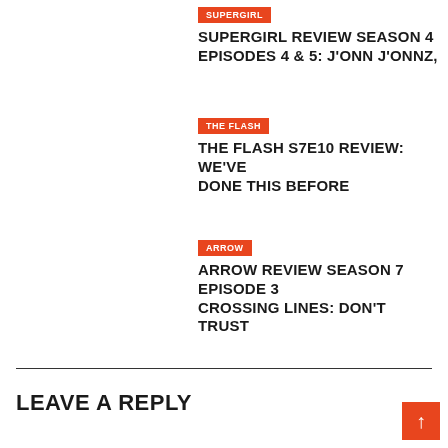SUPERGIRL REVIEW SEASON 4 EPISODES 4 & 5: J'ONN J'ONNZ,
THE FLASH
THE FLASH S7E10 REVIEW: WE'VE DONE THIS BEFORE
ARROW
ARROW REVIEW SEASON 7 EPISODE 3 CROSSING LINES: DON'T TRUST
LEAVE A REPLY